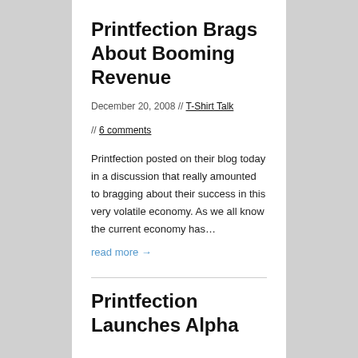Printfection Brags About Booming Revenue
December 20, 2008 // T-Shirt Talk // 6 comments
Printfection posted on their blog today in a discussion that really amounted to bragging about their success in this very volatile economy. As we all know the current economy has…
read more →
Printfection Launches Alpha